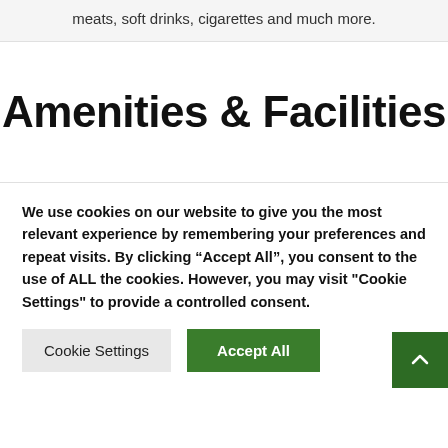meats, soft drinks, cigarettes and much more.
Amenities & Facilities
We use cookies on our website to give you the most relevant experience by remembering your preferences and repeat visits. By clicking “Accept All”, you consent to the use of ALL the cookies. However, you may visit "Cookie Settings" to provide a controlled consent.
Cookie Settings
Accept All